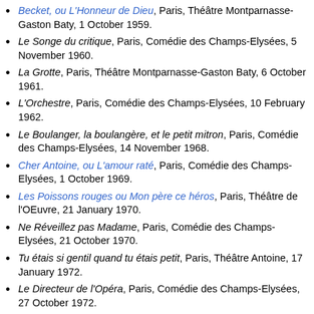Becket, ou L'Honneur de Dieu, Paris, Théâtre Montparnasse-Gaston Baty, 1 October 1959.
Le Songe du critique, Paris, Comédie des Champs-Elysées, 5 November 1960.
La Grotte, Paris, Théâtre Montparnasse-Gaston Baty, 6 October 1961.
L'Orchestre, Paris, Comédie des Champs-Elysées, 10 February 1962.
Le Boulanger, la boulangère, et le petit mitron, Paris, Comédie des Champs-Elysées, 14 November 1968.
Cher Antoine, ou L'amour raté, Paris, Comédie des Champs-Elysées, 1 October 1969.
Les Poissons rouges ou Mon père ce héros, Paris, Théâtre de l'OEuvre, 21 January 1970.
Ne Réveillez pas Madame, Paris, Comédie des Champs-Elysées, 21 October 1970.
Tu étais si gentil quand tu étais petit, Paris, Théâtre Antoine, 17 January 1972.
Le Directeur de l'Opéra, Paris, Comédie des Champs-Elysées, 27 October 1972.